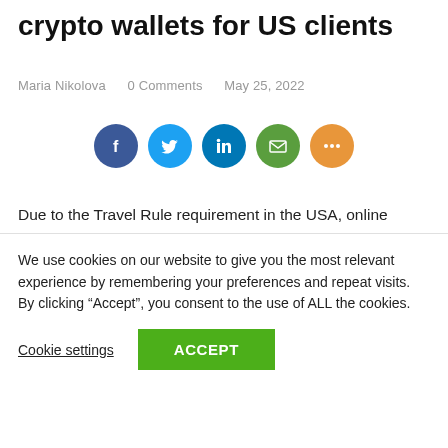crypto wallets for US clients
Maria Nikolova   0 Comments   May 25, 2022
[Figure (infographic): Social share icons: Facebook (dark blue), Twitter (light blue), LinkedIn (blue), Email (green), More (orange)]
Due to the Travel Rule requirement in the USA, online broker eToro is limiting the amount users from this country may send from their eToro Money crypto wallet to another third-party wallet to $2,999 per transaction. For residents of
We use cookies on our website to give you the most relevant experience by remembering your preferences and repeat visits. By clicking “Accept”, you consent to the use of ALL the cookies.
Cookie settings   ACCEPT